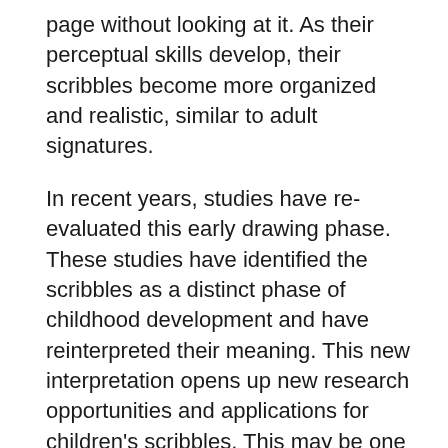page without looking at it. As their perceptual skills develop, their scribbles become more organized and realistic, similar to adult signatures.
In recent years, studies have re-evaluated this early drawing phase. These studies have identified the scribbles as a distinct phase of childhood development and have reinterpreted their meaning. This new interpretation opens up new research opportunities and applications for children's scribbles. This may be one of the most critical discoveries in child psychology. For now, this drawing stage may be best interpreted as a transitional phase between “realistic” drawings and the scribble stage.